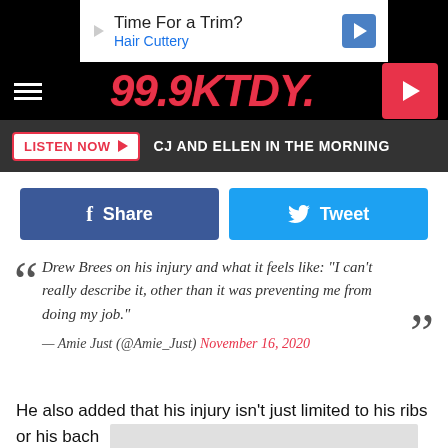[Figure (screenshot): 99.9 KTDY radio station website header with logo]
Time For a Trim? Hair Cuttery
99.9 KTDY
LISTEN NOW   CJ AND ELLEN IN THE MORNING
Share   Tweet
Drew Brees on his injury and what it feels like: "I can't really describe it, other than it was preventing me from doing my job." — Amie Just (@Amie_Just) November 16, 2020
He also added that his injury isn't just limited to his ribs or his back... other i...